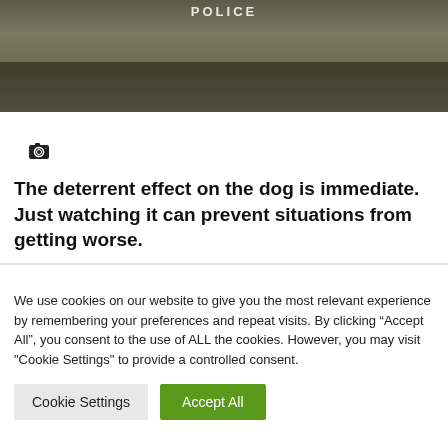[Figure (photo): Dark image of police officers in the background with 'POLICE' text visible]
The deterrent effect on the dog is immediate. Just watching it can prevent situations from getting worse.
We use cookies on our website to give you the most relevant experience by remembering your preferences and repeat visits. By clicking “Accept All”, you consent to the use of ALL the cookies. However, you may visit "Cookie Settings" to provide a controlled consent.